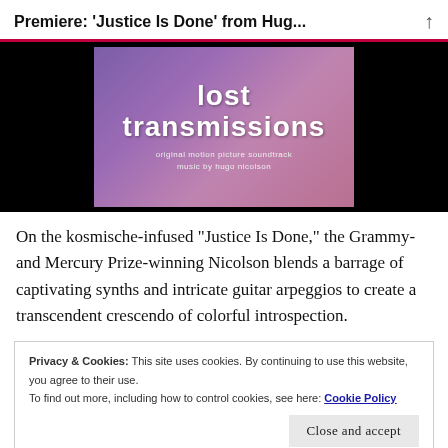Premiere: ‘Justice Is Done’ from Hug...
[Figure (photo): Album artwork for 'Lost Transmissions' original motion picture soundtrack, music by Hugo Nicolson. White text on purple/pink gradient background with blurred figures.]
On the kosmische-infused “Justice Is Done,” the Grammy- and Mercury Prize-winning Nicolson blends a barrage of captivating synths and intricate guitar arpeggios to create a transcendent crescendo of colorful introspection.
Privacy & Cookies: This site uses cookies. By continuing to use this website, you agree to their use.
To find out more, including how to control cookies, see here: Cookie Policy
Close and accept
film in limited theatres and on demand on the